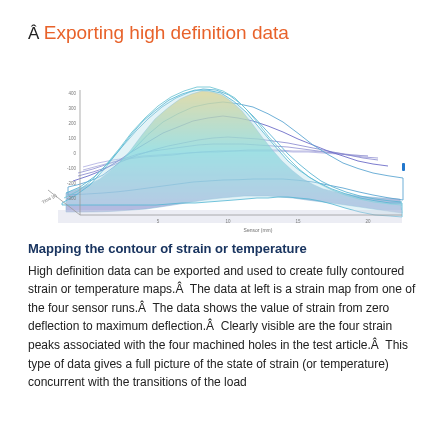Â
Exporting high definition data
[Figure (continuous-plot): 3D surface plot showing strain or temperature contour map with multiple wave peaks rising from a flat base, colored from purple/blue at the base through cyan, green, yellow to orange/red at the peaks. Axes show strain values on the vertical axis and spatial dimensions on the horizontal axes. The surface shows four prominent peaks corresponding to four machined holes in the test article.]
Mapping the contour of strain or temperature
High definition data can be exported and used to create fully contoured strain or temperature maps.Â  The data at left is a strain map from one of the four sensor runs.Â  The data shows the value of strain from zero deflection to maximum deflection.Â  Clearly visible are the four strain peaks associated with the four machined holes in the test article.Â  This type of data gives a full picture of the state of strain (or temperature) concurrent with the transitions of the load